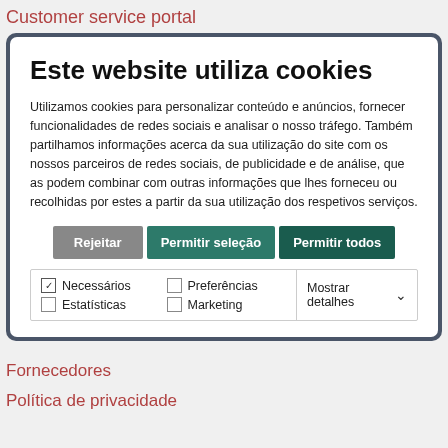Customer service portal
Este website utiliza cookies
Utilizamos cookies para personalizar conteúdo e anúncios, fornecer funcionalidades de redes sociais e analisar o nosso tráfego. Também partilhamos informações acerca da sua utilização do site com os nossos parceiros de redes sociais, de publicidade e de análise, que as podem combinar com outras informações que lhes forneceu ou recolhidas por estes a partir da sua utilização dos respetivos serviços.
Rejeitar
Permitir seleção
Permitir todos
✓ Necessários  ☐ Preferências  ☐ Estatísticas  ☐ Marketing  Mostrar detalhes
Fornecedores
Política de privacidade